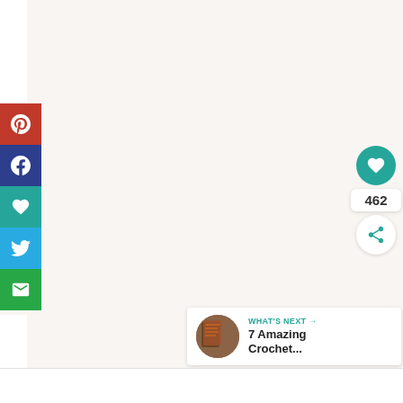[Figure (screenshot): Social media share sidebar with Pinterest, Facebook, Heart/Save, Twitter, and Email buttons on the left side of a webpage]
[Figure (infographic): Heart/like count widget showing 462 likes with a teal heart circle button and a share button]
[Figure (infographic): Thumbnail image for next article]
WHAT'S NEXT → 7 Amazing Crochet...